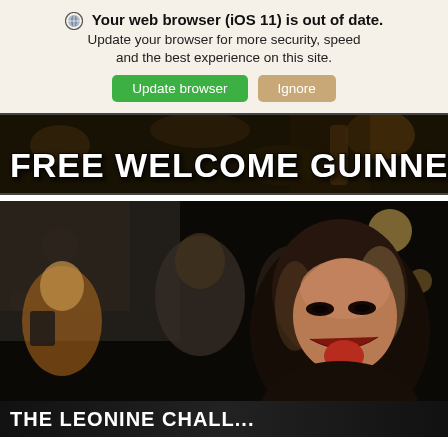🔒 Your web browser (iOS 11) is out of date. Update your browser for more security, speed and the best experience on this site.
[Figure (screenshot): Browser update notification banner with 'Update browser' green button and 'Ignore' tan button]
[Figure (photo): Promotional banner showing 'FREE WELCOME GUINNESS' text over a dark nighttime bar/pub scene photo]
[Figure (photo): Photo of young people at a nighttime event or bar, a smiling woman sticking out her tongue in the foreground with other people behind her, bokeh lights in background]
THE LEONINE CHALLENGE (partial, cut off at bottom)